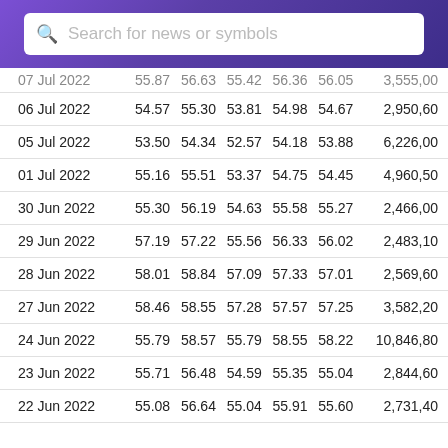[Figure (screenshot): Search bar with magnifying glass icon and placeholder text 'Search for news or symbols' on a purple gradient background]
| Date | Open | High | Low | Close | Adj Close | Volume |
| --- | --- | --- | --- | --- | --- | --- |
| 07 Jul 2022 | 55.87 | 56.63 | 55.42 | 56.36 | 56.05 | 3,555,00... |
| 06 Jul 2022 | 54.57 | 55.30 | 53.81 | 54.98 | 54.67 | 2,950,60... |
| 05 Jul 2022 | 53.50 | 54.34 | 52.57 | 54.18 | 53.88 | 6,226,00... |
| 01 Jul 2022 | 55.16 | 55.51 | 53.37 | 54.75 | 54.45 | 4,960,50... |
| 30 Jun 2022 | 55.30 | 56.19 | 54.63 | 55.58 | 55.27 | 2,466,00... |
| 29 Jun 2022 | 57.19 | 57.22 | 55.56 | 56.33 | 56.02 | 2,483,10... |
| 28 Jun 2022 | 58.01 | 58.84 | 57.09 | 57.33 | 57.01 | 2,569,60... |
| 27 Jun 2022 | 58.46 | 58.55 | 57.28 | 57.57 | 57.25 | 3,582,20... |
| 24 Jun 2022 | 55.79 | 58.57 | 55.79 | 58.55 | 58.22 | 10,846,80... |
| 23 Jun 2022 | 55.71 | 56.48 | 54.59 | 55.35 | 55.04 | 2,844,60... |
| 22 Jun 2022 | 55.08 | 56.64 | 55.04 | 55.91 | 55.60 | 2,731,40... |